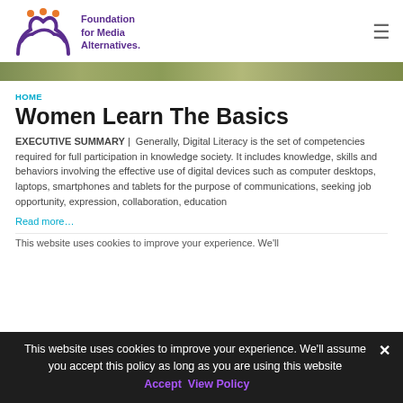Foundation for Media Alternatives
[Figure (photo): Partial photo strip showing people outdoors, cropped at top]
HOME
Women Learn The Basics
EXECUTIVE SUMMARY |  Generally, Digital Literacy is the set of competencies required for full participation in knowledge society. It includes knowledge, skills and behaviors involving the effective use of digital devices such as computer desktops, laptops, smartphones and tablets for the purpose of communications, seeking job opportunity, expression, collaboration, education
Read more...
This website uses cookies to improve your experience. We'll assume you accept this policy as long as you are using this website  Accept  View Policy